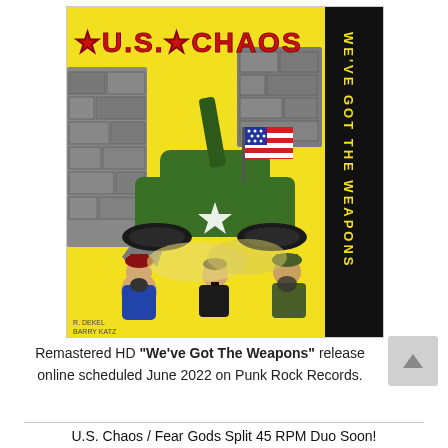[Figure (illustration): Album cover art for U.S. Chaos 'We've Got The Weapons'. Features a green military tank with an American flag crashing through a stone wall on a yellow background. Three caricatured enemy soldiers flee in the foreground. Red block text reads 'U.S. CHAOS' across the top. Black vertical banner on the right reads 'WE'VE GOT THE WEAPONS' in yellow letters.]
Remastered HD "We've Got The Weapons" release online scheduled June 2022 on Punk Rock Records.
U.S. Chaos / Fear Gods Split 45 RPM Duo Soon!